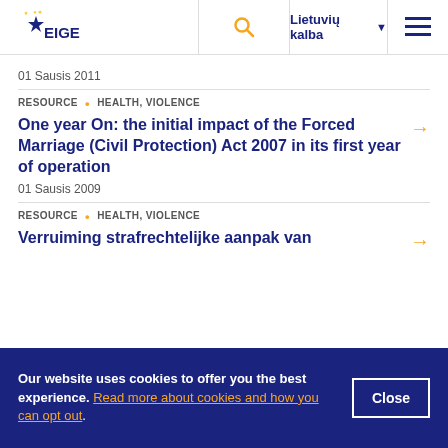EIGE | Lietuvių kalba
01 Sausis 2011
RESOURCE · HEALTH, VIOLENCE
One year On: the initial impact of the Forced Marriage (Civil Protection) Act 2007 in its first year of operation
01 Sausis 2009
RESOURCE · HEALTH, VIOLENCE
Verruiming strafrechtelijke aanpak van
Our website uses cookies to offer you the best experience. Read more about cookies and how you can opt out.